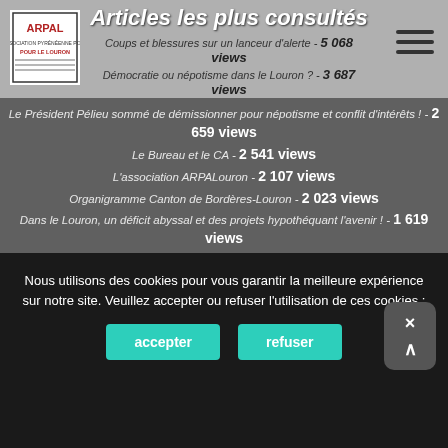Articles les plus consultés
Coups et blessures sur un lanceur d'alerte - 5 068 views
Démocratie ou népotisme dans le Louron ? - 3 687 views
Le Président Pélieu sommé de démissionner pour népotisme et conflit d'intérêts ! - 2 659 views
Le Bureau et le CA - 2 541 views
L'association ARPALouron - 2 107 views
Organigramme Canton de Bordères-Louron - 2 023 views
Dans le Louron, un déficit abyssal et des projets hypothéquant l'avenir ! - 1 619 views
Droit de réponse à La Semaine des Pyrénées du jeudi 3 avril 2014. M Pèlieu » qu'ils se présentent ou aillent voir ailleurs » - 1 541 views
Extension de la piste de l'altiport de Peyragudes ? - 1 478 views
Recours téléporté - 1 456 views
Nous utilisons des cookies pour vous garantir la meilleure expérience sur notre site. Veuillez accepter ou refuser l'utilisation de ces cookies :